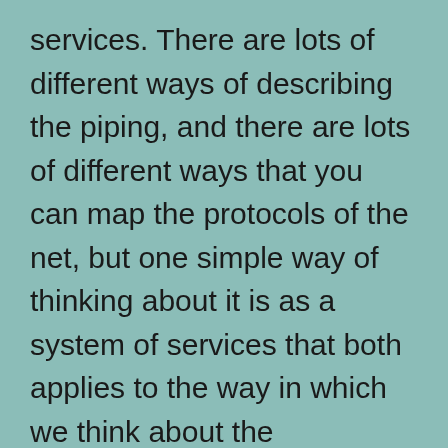services. There are lots of different ways of describing the piping, and there are lots of different ways that you can map the protocols of the net, but one simple way of thinking about it is as a system of services that both applies to the way in which we think about the networking protocols themselves, one computer providing data or processing for another computer through ports that represent, in the actual configuration of these systems, services ready to be performed. And, above that, at the layer where machinery meets human beings, we experience the net as